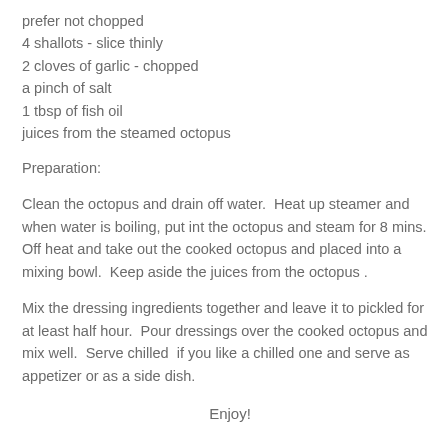prefer not chopped
4 shallots - slice thinly
2 cloves of garlic - chopped
a pinch of salt
1 tbsp of fish oil
juices from the steamed octopus
Preparation:
Clean the octopus and drain off water.  Heat up steamer and when water is boiling, put int the octopus and steam for 8 mins. Off heat and take out the cooked octopus and placed into a mixing bowl.  Keep aside the juices from the octopus .
Mix the dressing ingredients together and leave it to pickled for at least half hour.  Pour dressings over the cooked octopus and mix well.  Serve chilled  if you like a chilled one and serve as appetizer or as a side dish.
Enjoy!